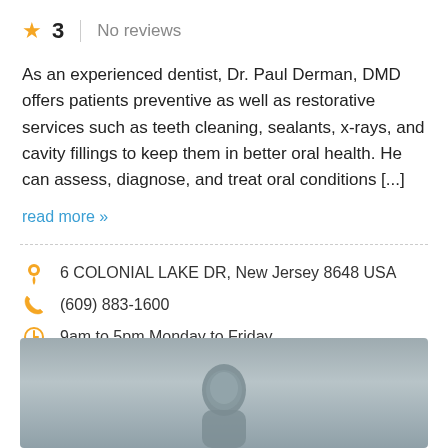★ 3  |  No reviews
As an experienced dentist, Dr. Paul Derman, DMD offers patients preventive as well as restorative services such as teeth cleaning, sealants, x-rays, and cavity fillings to keep them in better oral health. He can assess, diagnose, and treat oral conditions [...]
read more »
6 COLONIAL LAKE DR, New Jersey 8648 USA
(609) 883-1600
9am to 5pm Monday to Friday
[Figure (photo): Blurred/obscured photo of a person (dentist headshot), showing a man's head and upper shoulders against a gray background]